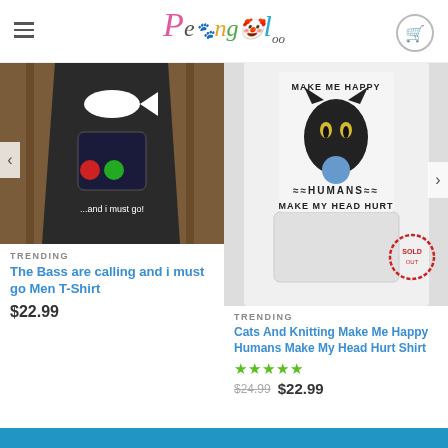Pangoly
[Figure (photo): Dark t-shirt showing a fish graphic and phone screen icons with text '...and i must go!' against a wooden background]
TRENDING
The Bass are calling and i must go Men T-Shirt
$22.99
[Figure (photo): White hoodie/sweatshirt showing a grumpy black cat knitting with text 'MAKE ME HAPPY ... HUMANS MAKE MY HEAD HURT']
TRENDING
Cats And Knitting Make Me Happy Humans Make My Head Hurt Shirt
★★★★★
$24.99  $22.99